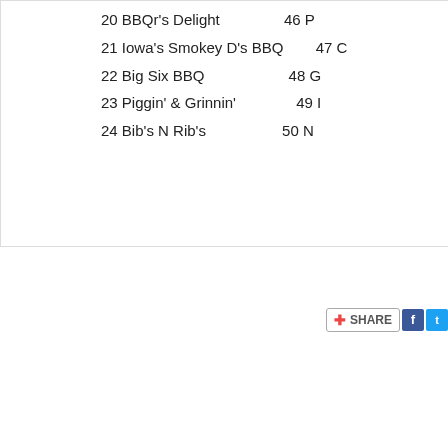20 BBQr's Delight   46 P
21 Iowa's Smokey D's BBQ   47 C
22 Big Six BBQ   48 G
23 Piggin' & Grinnin'   49 I
24 Bib's N Rib's   50 N
[Figure (screenshot): Share button with Facebook and Twitter icons]
[Figure (screenshot): Things To Do widget with black background and red border]
[Figure (screenshot): Social sharing icons row: Gmail, Blogger, Twitter, Facebook, Pinterest]
Labels: Barbeque, BBQ Pit, Brisket, Chicken, Eusebio, Hammond, KCBS, Lauren, Louis...
No comments:
Post a Comment